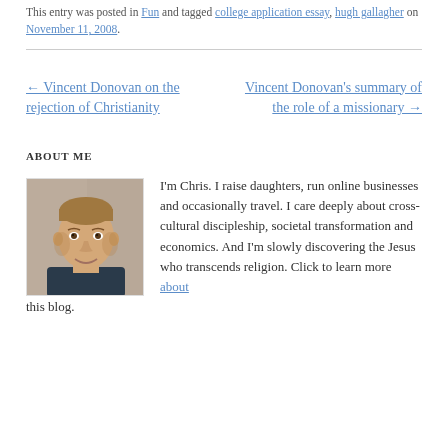This entry was posted in Fun and tagged college application essay, hugh gallagher on November 11, 2008.
← Vincent Donovan on the rejection of Christianity
Vincent Donovan's summary of the role of a missionary →
ABOUT ME
[Figure (photo): Headshot of Chris, a man smiling outdoors]
I'm Chris. I raise daughters, run online businesses and occasionally travel. I care deeply about cross-cultural discipleship, societal transformation and economics. And I'm slowly discovering the Jesus who transcends religion. Click to learn more about this blog.